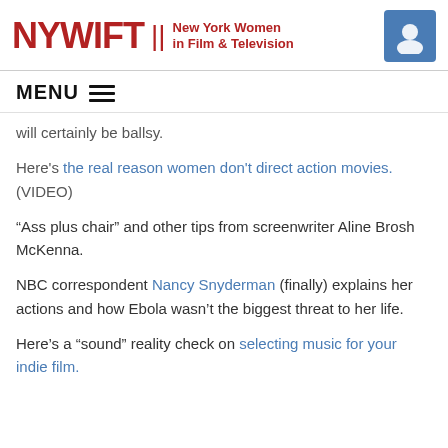NYWIFT | New York Women in Film & Television
MENU
will certainly be ballsy.
Here's the real reason women don't direct action movies. (VIDEO)
“Ass plus chair” and other tips from screenwriter Aline Brosh McKenna.
NBC correspondent Nancy Snyderman (finally) explains her actions and how Ebola wasn’t the biggest threat to her life.
Here’s a “sound” reality check on selecting music for your indie film.